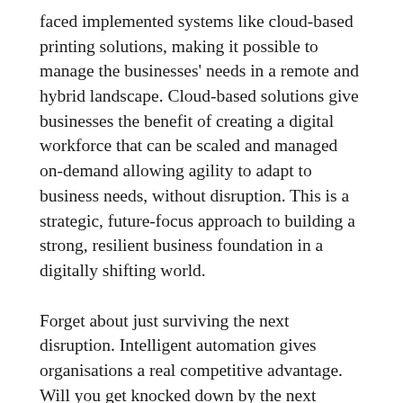faced implemented systems like cloud-based printing solutions, making it possible to manage the businesses' needs in a remote and hybrid landscape. Cloud-based solutions give businesses the benefit of creating a digital workforce that can be scaled and managed on-demand allowing agility to adapt to business needs, without disruption. This is a strategic, future-focus approach to building a strong, resilient business foundation in a digitally shifting world.
Forget about just surviving the next disruption. Intelligent automation gives organisations a real competitive advantage. Will you get knocked down by the next disruption or rely on a strong core built on intelligent automation to forge ahead and lead the way to success?